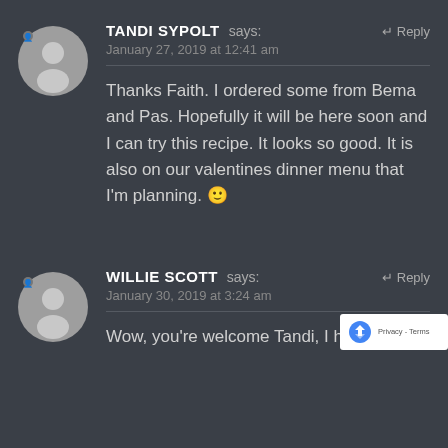TANDI SYPOLT says:
January 27, 2019 at 12:41 am
↵ Reply
Thanks Faith. I ordered some from Bema and Pas. Hopefully it will be here soon and I can try this recipe. It looks so good. It is also on our valentines dinner menu that I'm planning. 🙂
WILLIE SCOTT says:
January 30, 2019 at 3:24 am
↵ Reply
Wow, you're welcome Tandi, I ho…